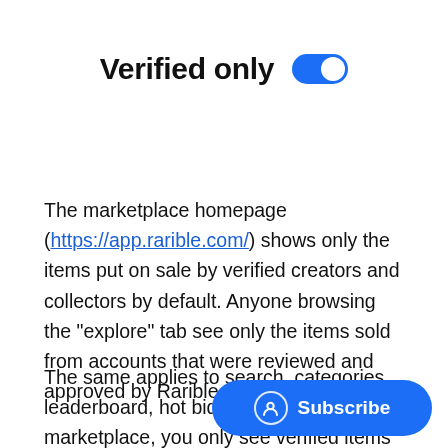Verified only [toggle on]
The marketplace homepage (https://app.rarible.com/) shows only the items put on sale by verified creators and collectors by default. Anyone browsing the “explore” tab see only the items sold from accounts that were reviewed and approved by Rarible team.
The same applies to search, categories, leaderboard, hot bids: all around the marketplace, you only see verified items by default unless you specifically c[hange].
[Figure (screenshot): Blue Subscribe button overlay with person/user icon and text 'Subscribe']